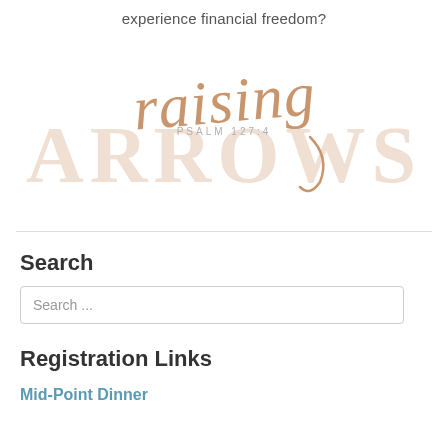experience financial freedom?
[Figure (logo): Raising Arrows logo with script 'raising' text in gold/tan over large light 'ARROWS' text and 'PSALM 127:4' subtitle]
Search
Search ...
Registration Links
Mid-Point Dinner